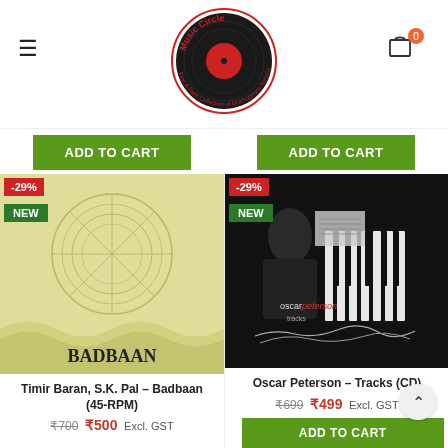Music Circle - Fine & Rare Collection of Gramophone Records
[Figure (logo): Music Circle vinyl record logo with red center label, circular text reading Fine & Rare Collection of Gramophone Records]
ADD TO CART
ADD TO CART
[Figure (photo): Album cover for Badbaan 45-RPM vinyl record, yellowish-green sleeve with circular disc graphic and BADBAAN text, with -29% red badge and NEW green badge]
[Figure (photo): Album cover for Oscar Peterson Tracks CD, black and white photo of man at piano with oscar peterson tracks text and signature, with -29% red badge and NEW green badge]
Timir Baran, S.K. Pal – Badbaan (45-RPM)
₹700 ₹500 Excl. GST
Oscar Peterson – Tracks (CD)
₹699 ₹499 Excl. GST
ADD TO CART